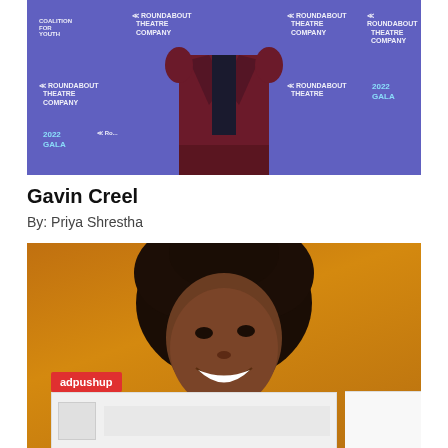[Figure (photo): Person standing in maroon/burgundy blazer against a purple Roundabout Theatre Company backdrop with '2022 GALA' text visible]
Gavin Creel
By: Priya Shrestha
[Figure (photo): Smiling young woman with curly hair against a golden yellow background, with an adpushup advertisement overlay at the bottom]